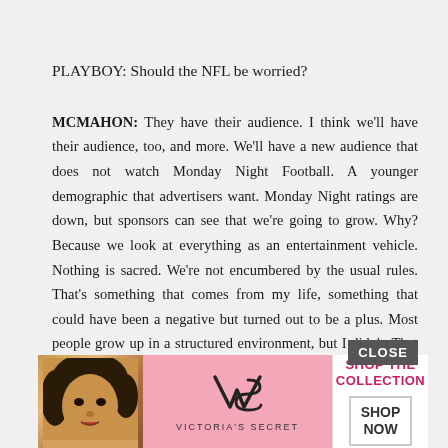PLAYBOY: Should the NFL be worried?
MCMAHON: They have their audience. I think we'll have their audience, too, and more. We'll have a new audience that does not watch Monday Night Football. A younger demographic that advertisers want. Monday Night ratings are down, but sponsors can see that we're going to grow. Why? Because we look at everything as an entertainment vehicle. Nothing is sacred. We're not encumbered by the usual rules. That's something that comes from my life, something that could have been a negative but turned out to be a plus. Most people grow up in a structured environment, but I didn't. That gives you the ability to fall on your face, to get into trouble, and if you live through it, you don't know limitations--other than physical one... I'm just
[Figure (screenshot): Victoria's Secret advertisement banner with pink background, model photo on left, VS logo in center, and 'SHOP THE COLLECTION' text with 'SHOP NOW' button on right. CLOSE button visible at top right.]